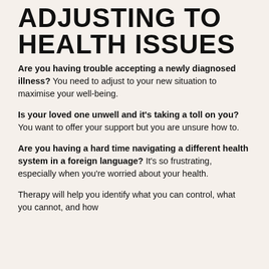ADJUSTING TO HEALTH ISSUES
Are you having trouble accepting a newly diagnosed illness? You need to adjust to your new situation to maximise your well-being.
Is your loved one unwell and it's taking a toll on you? You want to offer your support but you are unsure how to.
Are you having a hard time navigating a different health system in a foreign language? It's so frustrating, especially when you're worried about your health.
Therapy will help you identify what you can control, what you cannot, and how